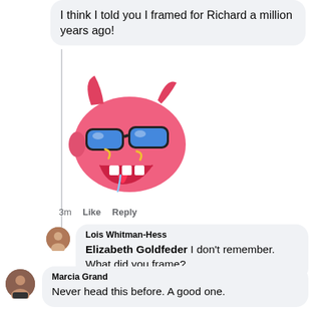I think I told you I framed for Richard a million years ago!
[Figure (illustration): A pink cartoon devil/monster emoji with sunglasses and blue eyes, sticking out a tongue]
3m  Like  Reply
Lois Whitman-Hess
Elizabeth Goldfeder I don't remember. What did you frame?
Marcia Grand
Never head this before. A good one.